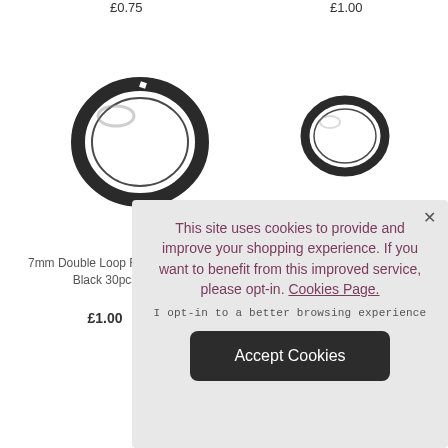£0.75
£1.00
[Figure (photo): Dark metal split ring / double loop jump ring, larger size, viewed from slight angle]
[Figure (photo): Dark metal jump ring / loop ring, smaller size, viewed from slight angle]
7mm Double Loop Findings - Black 30pcs
£1.00
This site uses cookies to provide and improve your shopping experience. If you want to benefit from this improved service, please opt-in. Cookies Page.
I opt-in to a better browsing experience
Accept Cookies